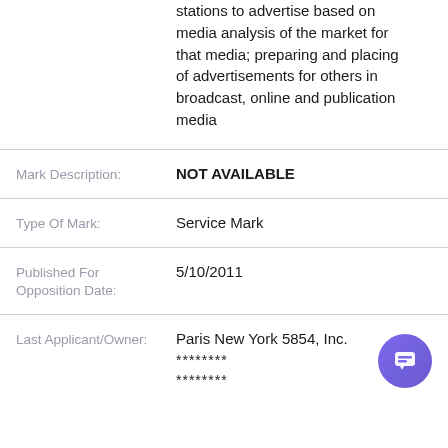stations to advertise based on media analysis of the market for that media; preparing and placing of advertisements for others in broadcast, online and publication media
Mark Description: NOT AVAILABLE
Type Of Mark: Service Mark
Published For Opposition Date: 5/10/2011
Last Applicant/Owner: Paris New York 5854, Inc. ******** ********